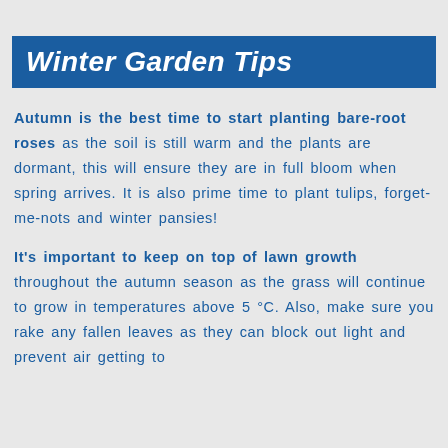Winter Garden Tips
Autumn is the best time to start planting bare-root roses as the soil is still warm and the plants are dormant, this will ensure they are in full bloom when spring arrives. It is also prime time to plant tulips, forget-me-nots and winter pansies!
It's important to keep on top of lawn growth throughout the autumn season as the grass will continue to grow in temperatures above 5 °C. Also, make sure you rake any fallen leaves as they can block out light and prevent air getting to